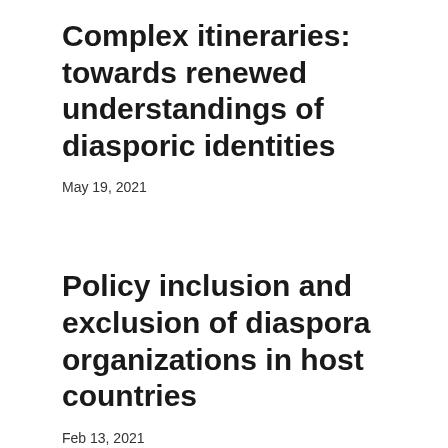Complex itineraries: towards renewed understandings of diasporic identities
May 19, 2021
Policy inclusion and exclusion of diaspora organizations in host countries
Feb 13, 2021